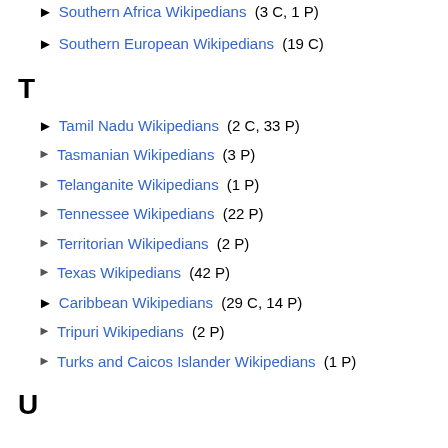Southern Africa Wikipedians (3 C, 1 P)
Southern European Wikipedians (19 C)
T
Tamil Nadu Wikipedians (2 C, 33 P)
Tasmanian Wikipedians (3 P)
Telanganite Wikipedians (1 P)
Tennessee Wikipedians (22 P)
Territorian Wikipedians (2 P)
Texas Wikipedians (42 P)
Caribbean Wikipedians (29 C, 14 P)
Tripuri Wikipedians (2 P)
Turks and Caicos Islander Wikipedians (1 P)
U